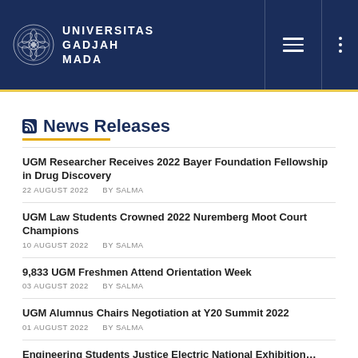UNIVERSITAS GADJAH MADA
News Releases
UGM Researcher Receives 2022 Bayer Foundation Fellowship in Drug Discovery
22 AUGUST 2022  BY SALMA
UGM Law Students Crowned 2022 Nuremberg Moot Court Champions
10 AUGUST 2022  BY SALMA
9,833 UGM Freshmen Attend Orientation Week
03 AUGUST 2022  BY SALMA
UGM Alumnus Chairs Negotiation at Y20 Summit 2022
01 AUGUST 2022  BY SALMA
Engineering Students Justice Electric National Exhibition…